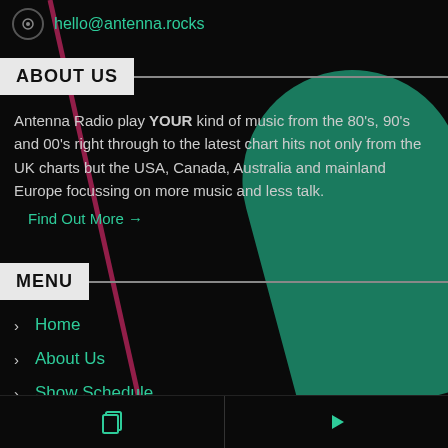hello@antenna.rocks
ABOUT US
Antenna Radio play YOUR kind of music from the 80's, 90's and 00's right through to the latest chart hits not only from the UK charts but the USA, Canada, Australia and mainland Europe focussing on more music and less talk.
Find Out More →
MENU
Home
About Us
Show Schedule
Events